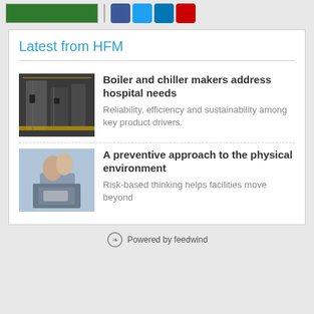Latest from HFM
[Figure (photo): Industrial boiler/chiller room with machinery and yellow floor markings]
Boiler and chiller makers address hospital needs
Reliability, efficiency and sustainability among key product drivers.
[Figure (photo): Two people looking at a computer screen or document from behind]
A preventive approach to the physical environment
Risk-based thinking helps facilities move beyond
Powered by feedwind